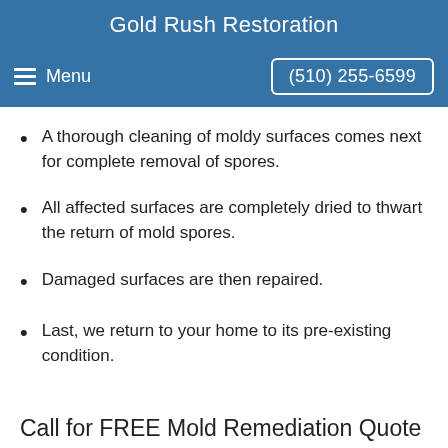Gold Rush Restoration
Menu  (510) 255-6599
A thorough cleaning of moldy surfaces comes next for complete removal of spores.
All affected surfaces are completely dried to thwart the return of mold spores.
Damaged surfaces are then repaired.
Last, we return to your home to its pre-existing condition.
Call for FREE Mold Remediation Quote